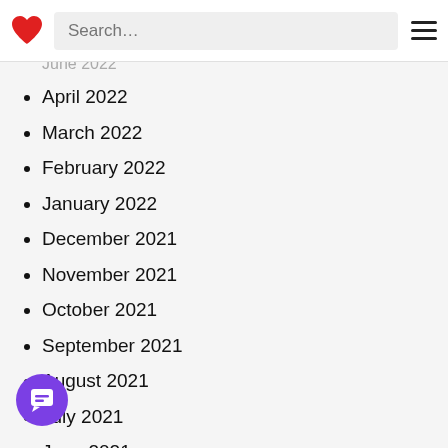Search...
April 2022
March 2022
February 2022
January 2022
December 2021
November 2021
October 2021
September 2021
August 2021
July 2021
June 2021
May 2021
April 2021
March 2021
February 2021